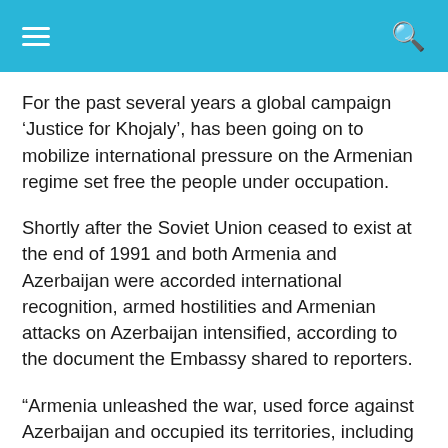≡   🔍
For the past several years a global campaign 'Justice for Khojaly', has been going on to mobilize international pressure on the Armenian regime set free the people under occupation.
Shortly after the Soviet Union ceased to exist at the end of 1991 and both Armenia and Azerbaijan were accorded international recognition, armed hostilities and Armenian attacks on Azerbaijan intensified, according to the document the Embassy shared to reporters.
“Armenia unleashed the war, used force against Azerbaijan and occupied its territories, including the Nagorno-Karabakh region and seven adjacent districts. It conducted ethnic cleansing of the